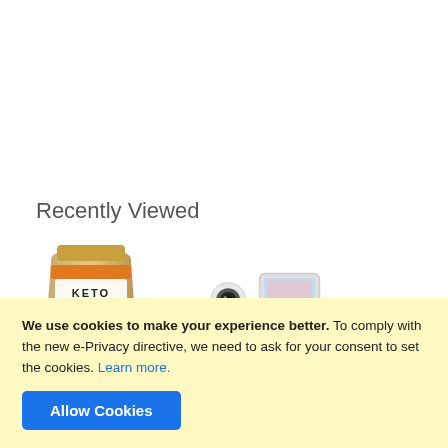Recently Viewed
[Figure (photo): Keto chocolate chip cookie mix product bag]
[Figure (photo): Baby monitor with camera and handheld screen]
We use cookies to make your experience better. To comply with the new e-Privacy directive, we need to ask for your consent to set the cookies. Learn more.
Allow Cookies